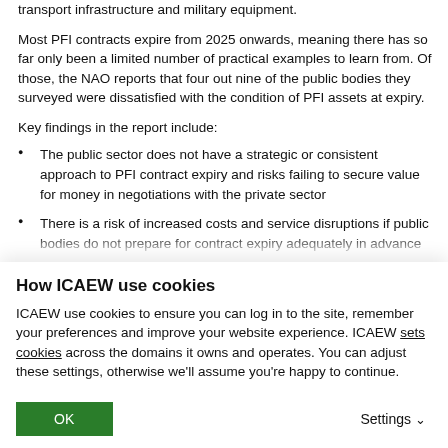transport infrastructure and military equipment.
Most PFI contracts expire from 2025 onwards, meaning there has so far only been a limited number of practical examples to learn from. Of those, the NAO reports that four out nine of the public bodies they surveyed were dissatisfied with the condition of PFI assets at expiry.
Key findings in the report include:
The public sector does not have a strategic or consistent approach to PFI contract expiry and risks failing to secure value for money in negotiations with the private sector
There is a risk of increased costs and service disruptions if public bodies do not prepare for contract expiry adequately in advance
How ICAEW use cookies
ICAEW use cookies to ensure you can log in to the site, remember your preferences and improve your website experience. ICAEW sets cookies across the domains it owns and operates. You can adjust these settings, otherwise we'll assume you're happy to continue.